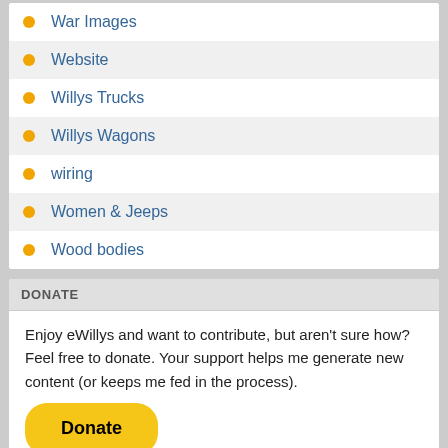War Images
Website
Willys Trucks
Willys Wagons
wiring
Women & Jeeps
Wood bodies
DONATE
Enjoy eWillys and want to contribute, but aren't sure how? Feel free to donate. Your support helps me generate new content (or keeps me fed in the process).
[Figure (other): PayPal Donate button with payment method icons (Visa, Mastercard, Mastercard, American Express, Discover, and another card)]
JAY'S WWII JEEPS
[Figure (photo): Partial image showing JAY'S text in red italic on tan background and a dark olive/green background section]